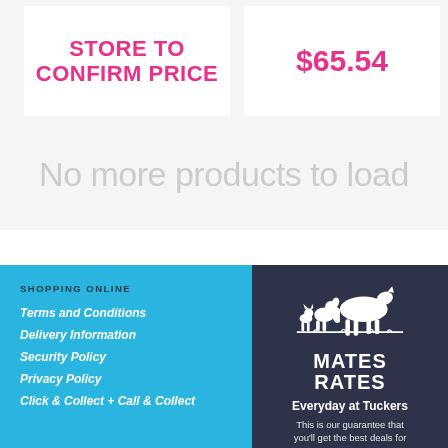STORE TO CONFIRM PRICE
$65.54
No more products to load
SHOPPING ONLINE
Terms and Conditions
Delivery Information
Security Policy
Privacy Policy
Click & Collect + Call & Collect
[Figure (logo): Mates Rates logo with horse, cat and dog silhouette above text MATES RATES]
Everyday at Tuckers
This is our guarantee that you'll get the best deals for your pet, horse & farm each